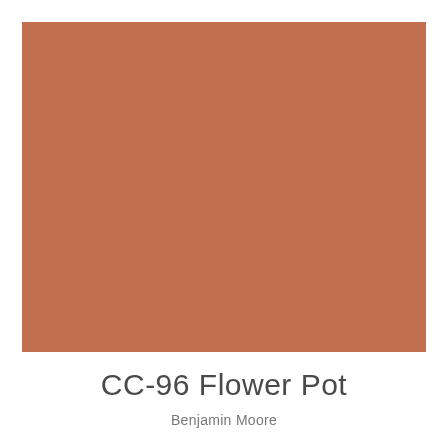[Figure (other): Large solid color swatch in terracotta/flower pot orange-brown color (CC-96 Flower Pot by Benjamin Moore)]
CC-96 Flower Pot
Benjamin Moore